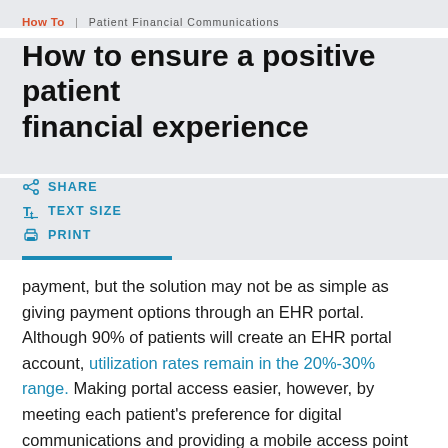How To | Patient Financial Communications
How to ensure a positive patient financial experience
SHARE
TEXT SIZE
PRINT
payment, but the solution may not be as simple as giving payment options through an EHR portal. Although 90% of patients will create an EHR portal account, utilization rates remain in the 20%-30% range. Making portal access easier, however, by meeting each patient's preference for digital communications and providing a mobile access point for portals via text, can greatly improve the billing experience and increase the likelihood of payment.
With high-deductible plans on the rise, patients also are seeking flexible payment plan options. Payment plans